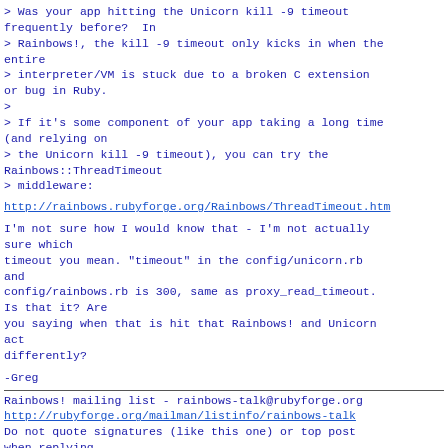> Was your app hitting the Unicorn kill -9 timeout frequently before?  In
> Rainbows!, the kill -9 timeout only kicks in when the entire
> interpreter/VM is stuck due to a broken C extension or bug in Ruby.
>
> If it's some component of your app taking a long time (and relying on
> the Unicorn kill -9 timeout), you can try the Rainbows::ThreadTimeout
> middleware:
http://rainbows.rubyforge.org/Rainbows/ThreadTimeout.html
I'm not sure how I would know that - I'm not actually sure which
timeout you mean. "timeout" in the config/unicorn.rb and
config/rainbows.rb is 300, same as proxy_read_timeout. Is that it? Are
you saying when that is hit that Rainbows! and Unicorn act
differently?
-Greg
Rainbows! mailing list - rainbows-talk@rubyforge.org
http://rubyforge.org/mailman/listinfo/rainbows-talk
Do not quote signatures (like this one) or top post
when replying